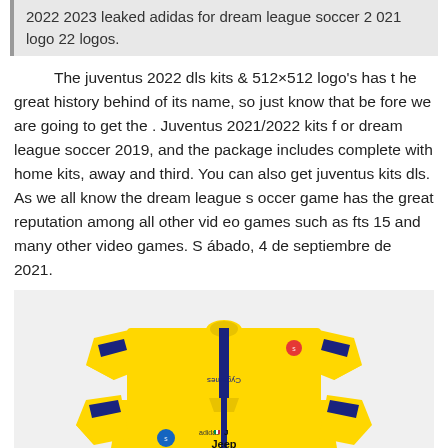2022 2023 leaked adidas for dream league soccer 2 021 logo 22 logos.
The juventus 2022 dls kits & 512×512 logo's has the great history behind of its name, so just know that before we are going to get the . Juventus 2021/2022 kits for dream league soccer 2019, and the package includes complete with home kits, away and third. You can also get juventus kits dls. As we all know the dream league soccer game has the great reputation among all other video games such as fts 15 and many other video games. Sábado, 4 de septiembre de 2021.
[Figure (illustration): Juventus 2021/2022 yellow third kit template for Dream League Soccer, showing flat kit layout with front and back pieces in yellow and dark blue/navy stripes, featuring Adidas logo, Jeep sponsor, Italian flag badge, and Juventus crest.]